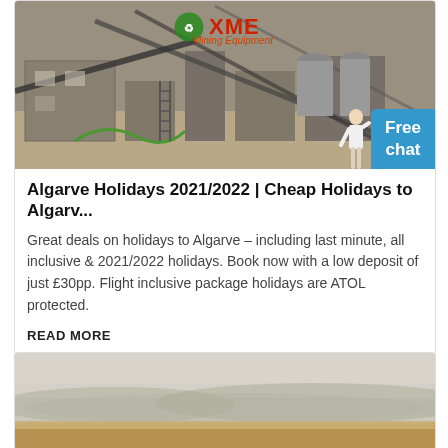[Figure (photo): Aerial/overhead view of an industrial facility with concrete structures, steel frames, conveyor belts and machinery. XME Mining Equipment logo overlaid in top center. A 'Free chat' bubble with a person figure in bottom right corner of the image.]
Algarve Holidays 2021/2022 | Cheap Holidays to Algarv...
Great deals on holidays to Algarve – including last minute, all inclusive & 2021/2022 holidays. Book now with a low deposit of just £30pp. Flight inclusive package holidays are ATOL protected.
READ MORE
[Figure (photo): Landscape photo showing a hazy outdoor scene with hills in the background and sandy/earthy ground in the foreground under a grey sky.]